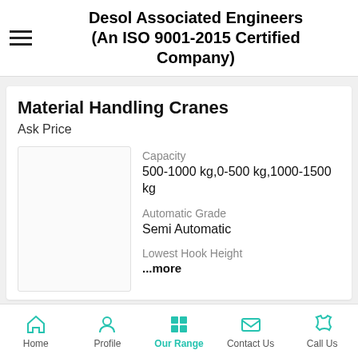Desol Associated Engineers (An ISO 9001-2015 Certified Company)
Material Handling Cranes
Ask Price
[Figure (photo): Product image placeholder for Material Handling Cranes]
Capacity
500-1000 kg,0-500 kg,1000-1500 kg
Automatic Grade
Semi Automatic
Lowest Hook Height
...more
Home  Profile  Our Range  Contact Us  Call Us